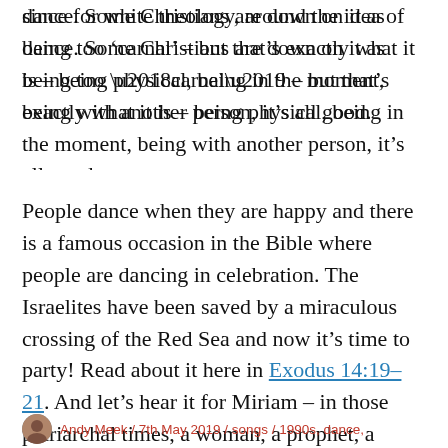since for white theology, around the idea of dance. Some Christians are down on it as being too ‘carnal’ – but that’s exactly what it is – being physical, being in the moment, being with another person, it’s all good.
People dance when they are happy and there is a famous occasion in the Bible where people are dancing in celebration. The Israelites have been saved by a miraculous crossing of the Red Sea and now it’s time to party! Read about it here in Exodus 14:19–21. And let’s hear it for Miriam – in those patriarchal times, a woman, a prophet, a musician, singer and a leader. Go Miriam!
Andy Meek / 7th May 2019 / songs / 1990s, dance,